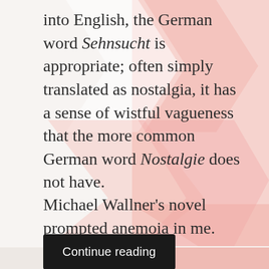into English, the German word Sehnsucht is appropriate; often simply translated as nostalgia, it has a sense of wistful vagueness that the more common German word Nostalgie does not have.
Michael Wallner's novel prompted anemoia in me.
Continue reading